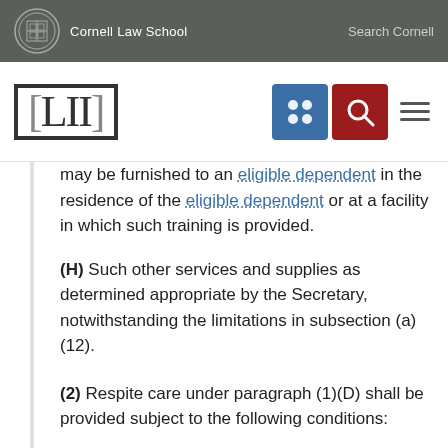Cornell Law School   Search Cornell
[Figure (logo): LII Legal Information Institute logo with Cornell Law School header, navigation icons including a blue grid icon, red search icon, and hamburger menu]
may be furnished to an eligible dependent in the residence of the eligible dependent or at a facility in which such training is provided.
(H) Such other services and supplies as determined appropriate by the Secretary, notwithstanding the limitations in subsection (a)(12).
(2) Respite care under paragraph (1)(D) shall be provided subject to the following conditions: